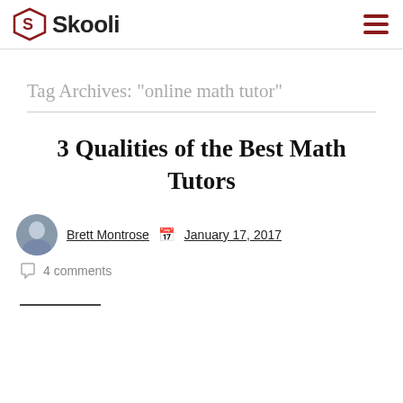Skooli
Tag Archives: "online math tutor"
3 Qualities of the Best Math Tutors
Brett Montrose   January 17, 2017
4 comments